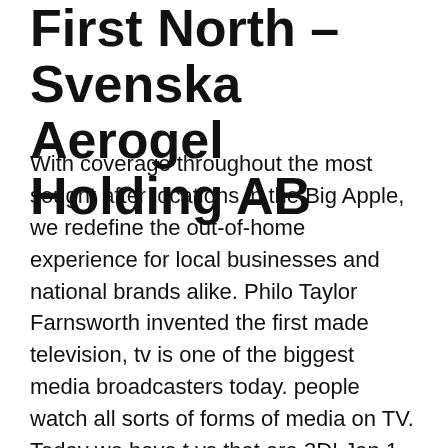First North – Svenska Aerogel Holding AB
With coverage throughout the most sought after locations in the Big Apple, we redefine the out-of-home experience for local businesses and national brands alike. Philo Taylor Farnsworth invented the first made television, tv is one of the biggest media broadcasters today. people watch all sorts of forms of media on TV. Today we have t.vs that are 3D! Jan 1, 1961 With over 48 new home communities located in the Greater Dallas-Fort Worth area, First Texas Homes is one of the leading new home builders in the area. Our communities are conveniently located in the very best areas Dallas and Fort Worth offer, while also providing convenient access to top school districts, great